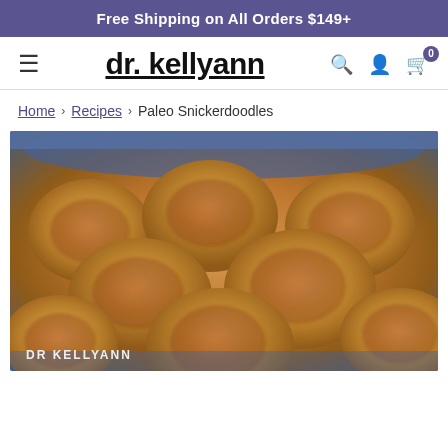Free Shipping on All Orders $149+
dr. kellyann
Home › Recipes › Paleo Snickerdoodles
[Figure (photo): Close-up photo of paleo snickerdoodle cookies dusted with cinnamon sugar, stacked on a blue plate. Watermark reads DR KELLYANN.]